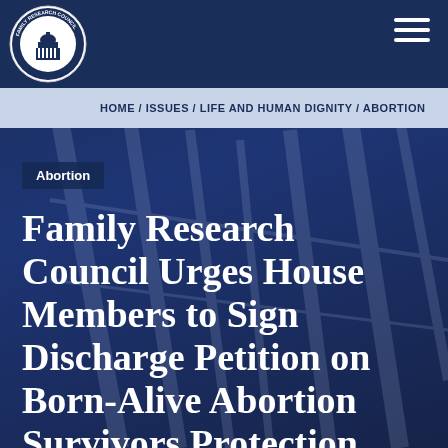Family Research Council
HOME / ISSUES / LIFE AND HUMAN DIGNITY / ABORTION
Abortion
Family Research Council Urges House Members to Sign Discharge Petition on Born-Alive Abortion Survivors Protection